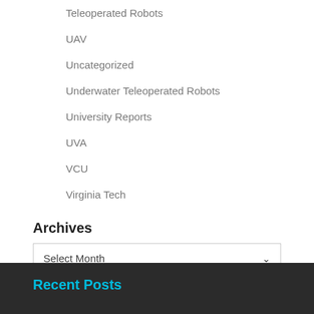Teleoperated Robots
UAV
Uncategorized
Underwater Teleoperated Robots
University Reports
UVA
VCU
Virginia Tech
Archives
Select Month
Recent Posts